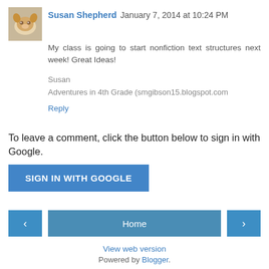Susan Shepherd  January 7, 2014 at 10:24 PM
My class is going to start nonfiction text structures next week! Great Ideas!
Susan
Adventures in 4th Grade (smgibson15.blogspot.com
Reply
To leave a comment, click the button below to sign in with Google.
SIGN IN WITH GOOGLE
‹
Home
›
View web version
Powered by Blogger.